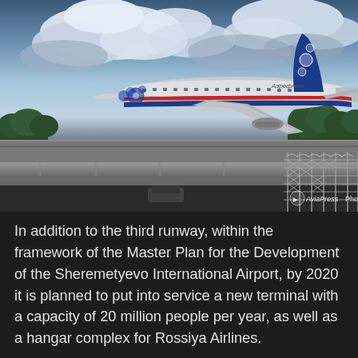[Figure (photo): An Aeroflot airplane with decorative blue floral pattern on tail and fuselage, with a red and blue stripe, taxiing on a runway above an elevated highway overpass with barbed wire fence on the right. Cloudy sky in the background with trees visible. AviaPress Photo watermark in lower right.]
In addition to the third runway, within the framework of the Master Plan for the Development of the Sheremetyevo International Airport, by 2020 it is planned to put into service a new terminal with a capacity of 20 million people per year, as well as a hangar complex for Rossiya Airlines.